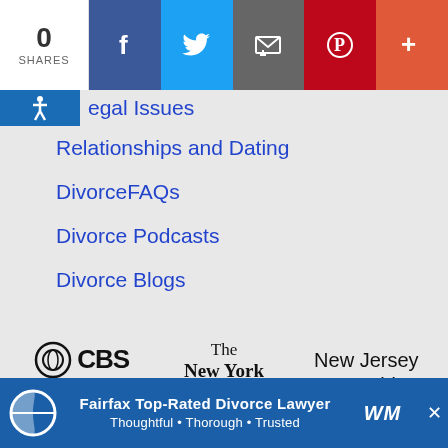[Figure (screenshot): Social share bar with count 0 SHARES, Facebook, Twitter, Email, Pinterest, and More buttons]
Legal Issues
Relationships and Dating
DivorceFAQs
Divorce Podcasts
Divorce Blogs
[Figure (logo): CBS News, The New York Times, and New Jersey Herald logos]
[Figure (logo): Partial CNN and other media logos visible at bottom]
Fairfax Top-Rated Divorce Lawyer Thoughtful • Thorough • Trusted